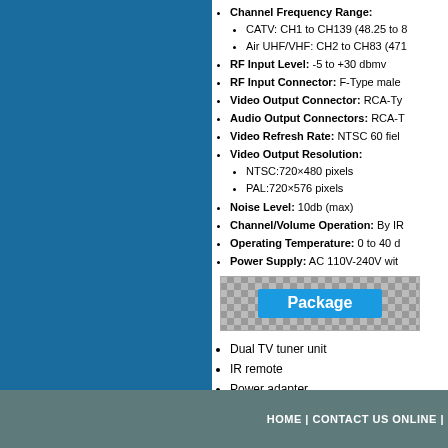Channel Frequency Range: CATV: CH1 to CH139 (48.25 to 8...) Air UHF/VHF: CH2 to CH83 (471...)
RF Input Level: -5 to +30 dbmv
RF Input Connector: F-Type male
Video Output Connector: RCA-Ty
Audio Output Connectors: RCA-T
Video Refresh Rate: NTSC 60 fiel
Video Output Resolution: NTSC:720x480 pixels PAL:720x576 pixels
Noise Level: 10db (max)
Channel/Volume Operation: By IR
Operating Temperature: 0 to 40 d
Power Supply: AC 110V-240V wit
[Figure (other): Package banner with decorative pattern background and blue label reading 'Package']
Dual TV tuner unit
IR remote
Power adapter
User manual
HOME | CONTACT US ONLINE |